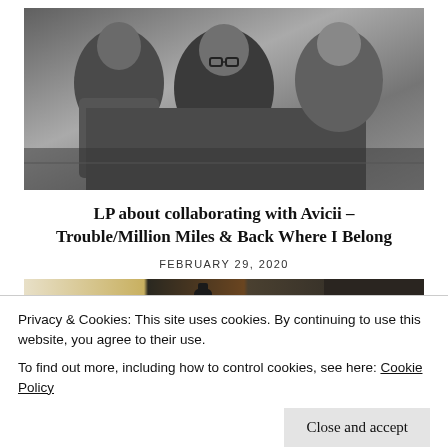[Figure (photo): Black and white photo of three people, likely musicians, gathered together in what appears to be a studio or indoor setting. One person wears glasses and a black shirt, another wears a denim jacket.]
LP about collaborating with Avicii – Trouble/Million Miles & Back Where I Belong
FEBRUARY 29, 2020
[Figure (photo): Color photo of decorative bottles and objects on a surface, including a yellow vase and dark glass bottles.]
Privacy & Cookies: This site uses cookies. By continuing to use this website, you agree to their use.
To find out more, including how to control cookies, see here: Cookie Policy
Close and accept